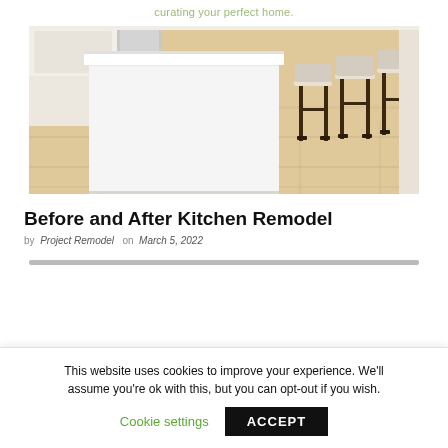curating your perfect home.
[Figure (photo): Kitchen island with white countertop and dark wood bar stools on light hardwood floor]
Before and After Kitchen Remodel
by Project Remodel on March 5, 2022
This website uses cookies to improve your experience. We'll assume you're ok with this, but you can opt-out if you wish.
Cookie settings  ACCEPT